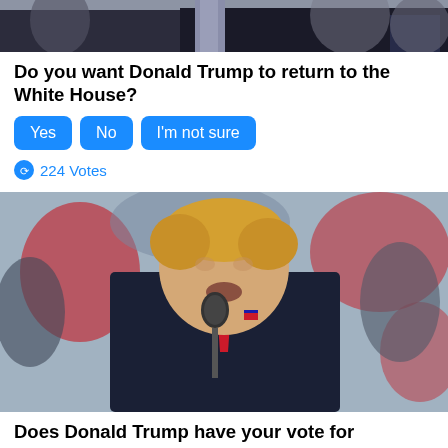[Figure (photo): Top portion of a person in a suit with tie, cropped photo]
Do you want Donald Trump to return to the White House?
Yes  No  I'm not sure
224 Votes
[Figure (photo): Donald Trump speaking at a microphone at an outdoor rally, wearing a dark suit and red tie, crowd in background]
Does Donald Trump have your vote for president in 2024?
Yes  No  I'm not sure (partial, cut off)